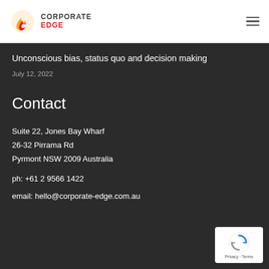CORPORATE EDGE
Unconscious bias, status quo and decision making
July 12, 2022
Contact
Suite 22, Jones Bay Wharf
26-32 Pirrama Rd
Pyrmont NSW 2009 Australia
ph: +61 2 9566 1422
email: hello@corporate-edge.com.au